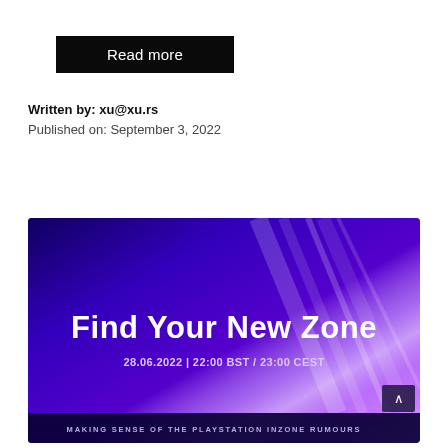Read more
Written by: xu@xu.rs
Published on: September 3, 2022
[Figure (illustration): PlayStation InZone promotional image with purple/violet gradient background and light streaks. Large bold white text reads 'Find Your New Zone'. Below that, '28.06.2022 | 22:00 BST / 23:00 CEST'. Bottom bar reads 'MAKING SENSE OF THE PLAYSTATION INZONE RUMOURS' in small caps. Scroll-up arrow button in bottom right corner.]